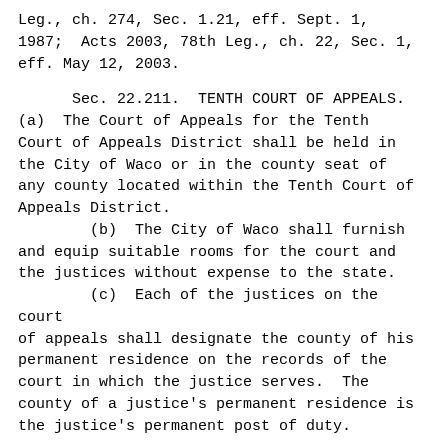Leg., ch. 274, Sec. 1.21, eff. Sept. 1, 1987;  Acts 2003, 78th Leg., ch. 22, Sec. 1, eff. May 12, 2003.
Sec. 22.211.  TENTH COURT OF APPEALS. (a)  The Court of Appeals for the Tenth Court of Appeals District shall be held in the City of Waco or in the county seat of any county located within the Tenth Court of Appeals District.
(b)  The City of Waco shall furnish and equip suitable rooms for the court and the justices without expense to the state.
(c)  Each of the justices on the court of appeals shall designate the county of his permanent residence on the records of the court in which the justice serves.  The county of a justice's permanent residence is the justice's permanent post of duty.